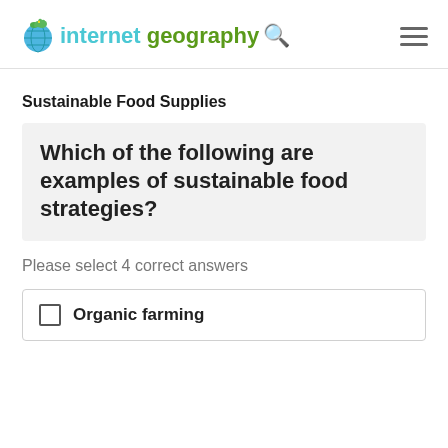internet geography
Sustainable Food Supplies
Which of the following are examples of sustainable food strategies?
Please select 4 correct answers
Organic farming